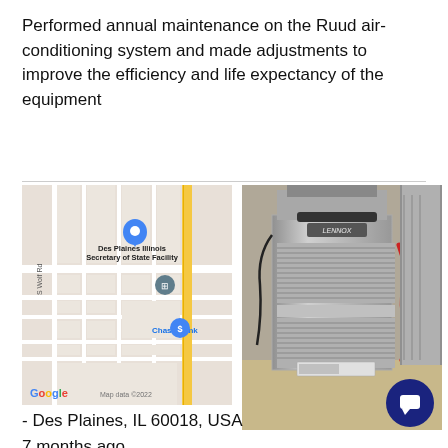Performed annual maintenance on the Ruud air-conditioning system and made adjustments to improve the efficiency and life expectancy of the equipment
[Figure (map): Google Map showing Des Plaines Illinois Secretary of State Facility with blue location pin, Chase Bank marked with dollar sign icon, S Wolf Rd label on left side, yellow vertical road on right, Map data ©2022]
[Figure (photo): Photo of a Lennox HVAC unit/furnace in a utility room, stainless steel metallic finish with ventilation grilles, red flexible pipe on left side, installed against white wall]
- Des Plaines, IL 60018, USA
7 months ago